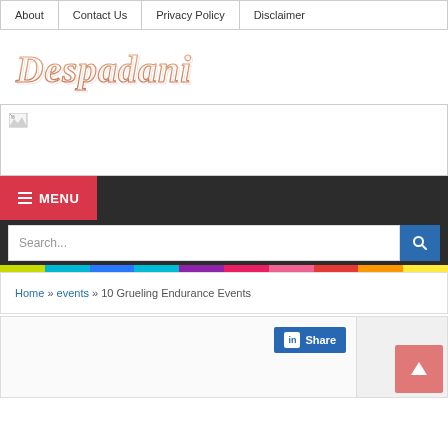About | Contact Us | Privacy Policy | Disclaimer
[Figure (logo): Despadani website logo in italic serif font with salmon/copper gradient stroke effect]
[Figure (photo): Banner image area with broken image icon (image failed to load)]
MENU
Search...
Home » events » 10 Grueling Endurance Events
[Figure (screenshot): LinkedIn Share button and content area with back-to-top arrow button]